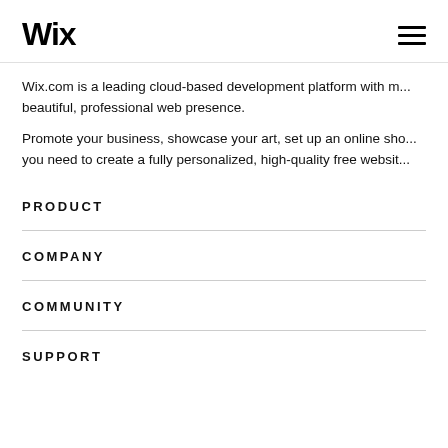Wix ≡
Wix.com is a leading cloud-based development platform with m... beautiful, professional web presence.
Promote your business, showcase your art, set up an online sho... you need to create a fully personalized, high-quality free websit...
PRODUCT
COMPANY
COMMUNITY
SUPPORT